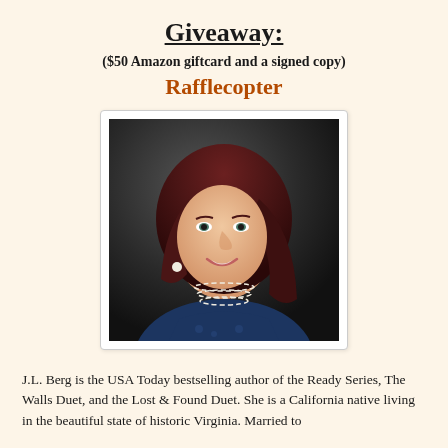Giveaway:
($50 Amazon giftcard and a signed copy)
Rafflecopter
[Figure (photo): Professional headshot of J.L. Berg, a woman with long auburn/dark red wavy hair, wearing a navy blue patterned top and pearl necklace, smiling, against a dark background.]
J.L. Berg is the USA Today bestselling author of the Ready Series, The Walls Duet, and the Lost & Found Duet. She is a California native living in the beautiful state of historic Virginia. Married to